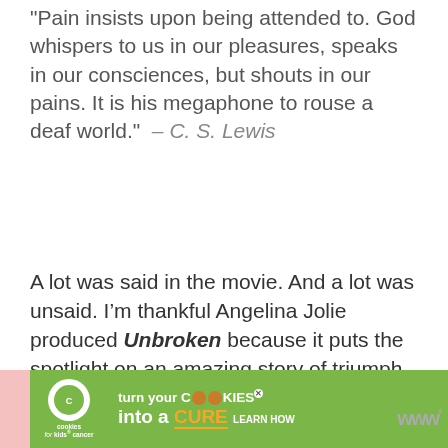“Pain insists upon being attended to. God whispers to us in our pleasures, speaks in our consciences, but shouts in our pains. It is his megaphone to rouse a deaf world.” – C. S. Lewis
A lot was said in the movie. And a lot was unsaid. I’m thankful Angelina Jolie produced Unbroken because it puts the spotlight on an amazing story of triumph, forgiveness and redemption that needs to be told. Louie Zamperini’s unforgettable story reminds us that truth and forgiveness will eventually triumph over hatred and brutality.
[Figure (other): Advertisement banner for Cookies for Kids Cancer: 'turn your COOKIES into a CURE LEARN HOW']